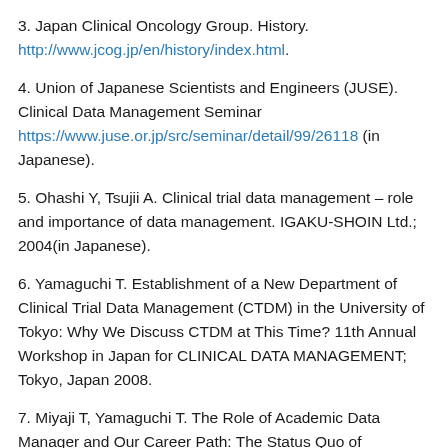3. Japan Clinical Oncology Group. History. http://www.jcog.jp/en/history/index.html.
4. Union of Japanese Scientists and Engineers (JUSE). Clinical Data Management Seminar https://www.juse.or.jp/src/seminar/detail/99/26118 (in Japanese).
5. Ohashi Y, Tsujii A. Clinical trial data management – role and importance of data management. IGAKU-SHOIN Ltd.; 2004(in Japanese).
6. Yamaguchi T. Establishment of a New Department of Clinical Trial Data Management (CTDM) in the University of Tokyo: Why We Discuss CTDM at This Time? 11th Annual Workshop in Japan for CLINICAL DATA MANAGEMENT; Tokyo, Japan 2008.
7. Miyaji T, Yamaguchi T. The Role of Academic Data Manager and Our Career Path: The Status Quo of Japanese Academic